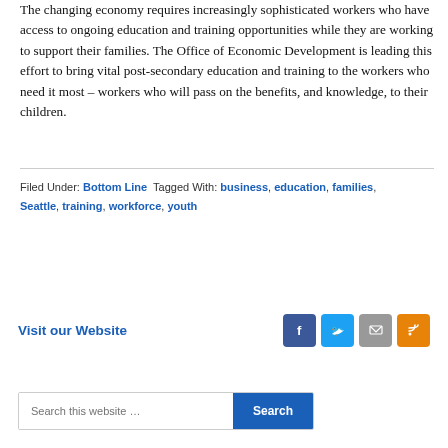The changing economy requires increasingly sophisticated workers who have access to ongoing education and training opportunities while they are working to support their families. The Office of Economic Development is leading this effort to bring vital post-secondary education and training to the workers who need it most – workers who will pass on the benefits, and knowledge, to their children.
Filed Under: Bottom Line Tagged With: business, education, families, Seattle, training, workforce, youth
Visit our Website
[Figure (other): Social media icons: Facebook, Twitter, Email, RSS]
Search this website …  Search